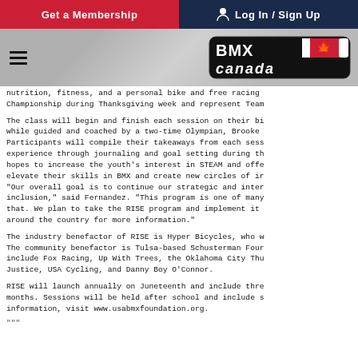Get a Membership | Log In / Sign Up
[Figure (logo): BMX Canada logo — black badge with red/white Canadian maple leaf flag graphic and 'BMX Canada' text in stylized font]
nutrition, fitness, and a personal bike and free racing Championship during Thanksgiving week and represent Team
The class will begin and finish each session on their bi while guided and coached by a two-time Olympian, Brooke Participants will compile their takeaways from each sess experience through journaling and goal setting during th hopes to increase the youth's interest in STEAM and offe elevate their skills in BMX and create new circles of ir "Our overall goal is to continue our strategic and inter inclusion," said Fernandez. "This program is one of many that. We plan to take the RISE program and implement it around the country for more information."
The industry benefactor of RISE is Hyper Bicycles, who w The community benefactor is Tulsa-based Schusterman Four include Fox Racing, Up With Trees, the Oklahoma City Thu Justice, USA Cycling, and Danny Boy O'Connor.
RISE will launch annually on Juneteenth and include thre months. Sessions will be held after school and include s information, visit www.usabmxfoundation.org.
"""